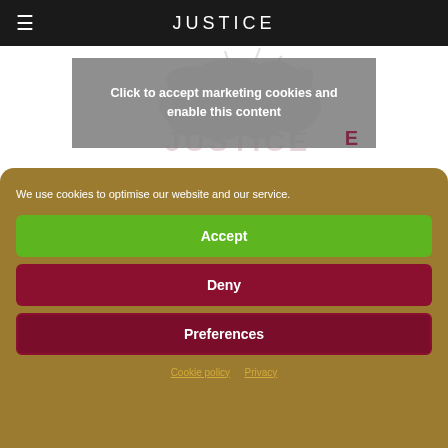JUSTICE
[Figure (screenshot): Gray overlay box on website with text 'Click to accept marketing cookies and enable this content' over a faint Justice logo/illustration]
We use cookies to optimise our website and our service.
Accept
Deny
Preferences
Cookie policy   Privacy